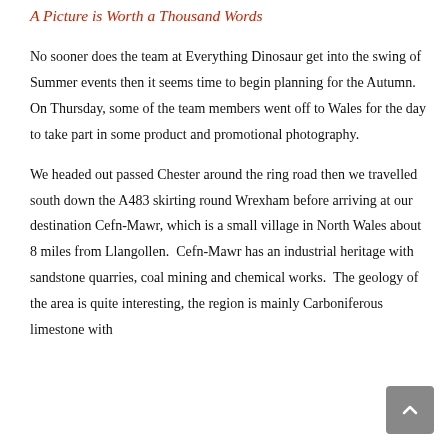A Picture is Worth a Thousand Words
No sooner does the team at Everything Dinosaur get into the swing of Summer events then it seems time to begin planning for the Autumn.  On Thursday, some of the team members went off to Wales for the day to take part in some product and promotional photography.
We headed out passed Chester around the ring road then we travelled south down the A483 skirting round Wrexham before arriving at our destination Cefn-Mawr, which is a small village in North Wales about 8 miles from Llangollen.  Cefn-Mawr has an industrial heritage with sandstone quarries, coal mining and chemical works.  The geology of the area is quite interesting, the region is mainly Carboniferous limestone with